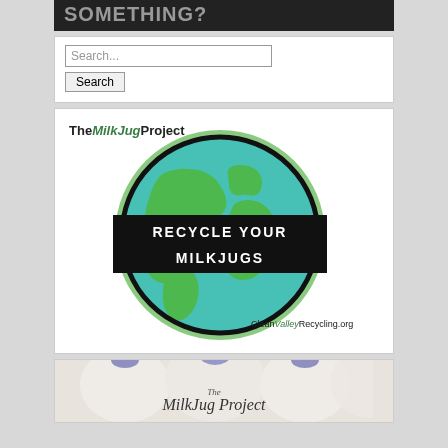SOMETHING?
[Figure (other): Search box with text field and Search button]
[Figure (illustration): The Milk Jug Project logo with globe graphic and text RECYCLE YOUR MILKJUGS, CleanValleyRecycling.org]
[Figure (photo): Photo of white milk jugs with purple caps and text The MilkJug Project]